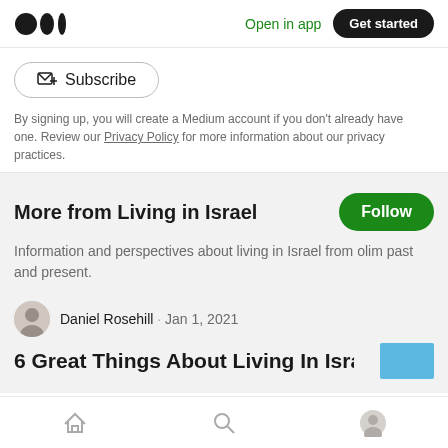Medium logo | Open in app | Get started
Subscribe
By signing up, you will create a Medium account if you don't already have one. Review our Privacy Policy for more information about our privacy practices.
More from Living in Israel
Information and perspectives about living in Israel from olim past and present.
Daniel Rosehill · Jan 1, 2021
6 Great Things About Living In Israel
Home | Search | Profile